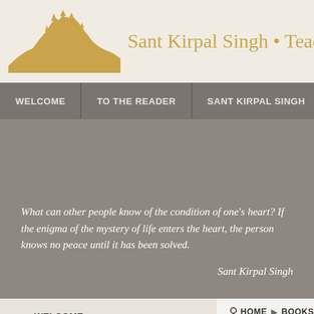Sant Kirpal Singh • Teachings
WELCOME | TO THE READER | SANT KIRPAL SINGH | MULT
What can other people know of the condition of one's heart? If the enigma of the mystery of life enters the heart, the person knows no peace until it has been solved.
Sant Kirpal Singh
WELCOME
TO THE READER
SANT KIRPAL SINGH
HOME ▶ BOOKS
How to love G